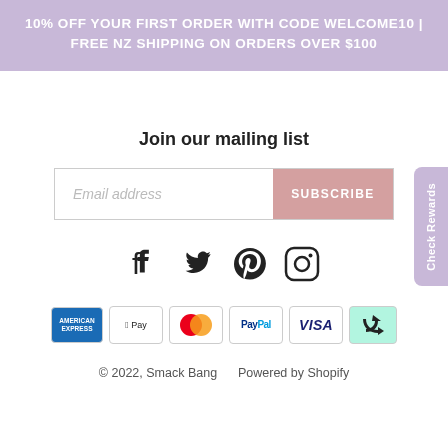10% OFF YOUR FIRST ORDER WITH CODE WELCOME10 | FREE NZ SHIPPING ON ORDERS OVER $100
Join our mailing list
Email address  SUBSCRIBE
[Figure (other): Social media icons: Facebook, Twitter, Pinterest, Instagram]
[Figure (other): Payment method icons: American Express, Apple Pay, Mastercard, PayPal, Visa, and a recycling/afterpay icon]
© 2022, Smack Bang    Powered by Shopify